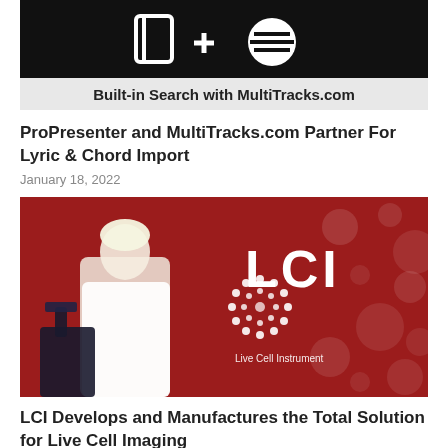[Figure (screenshot): Black banner image with icons (book/document, plus sign, lines) and gray bar below reading 'Built-in Search with MultiTracks.com']
ProPresenter and MultiTracks.com Partner For Lyric & Chord Import
January 18, 2022
[Figure (photo): Woman in white lab coat looking through a microscope against a red background, with LCI (Live Cell Instrument) logo on the right side]
LCI Develops and Manufactures the Total Solution for Live Cell Imaging